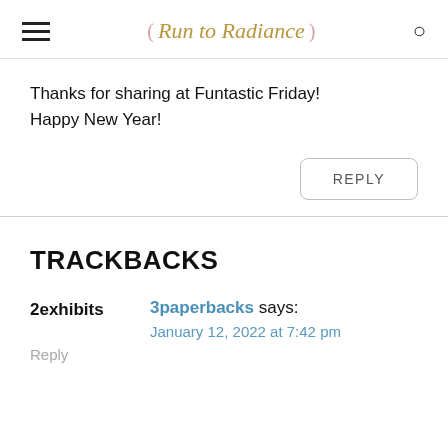Run to Radiance
Thanks for sharing at Funtastic Friday! Happy New Year!
REPLY
TRACKBACKS
2exhibits
3paperbacks says:
January 12, 2022 at 7:42 pm
Reply